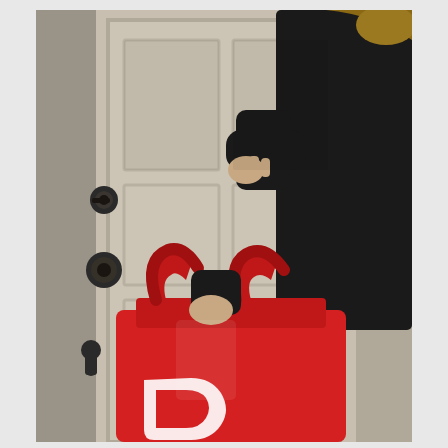[Figure (photo): A person dressed in black clothing knocking on or touching a white paneled front door, holding a large red delivery bag (DoorDash insulated bag with white logo) in their other hand. The door has black hardware including deadbolts and a knocker. The scene is a residential home exterior.]